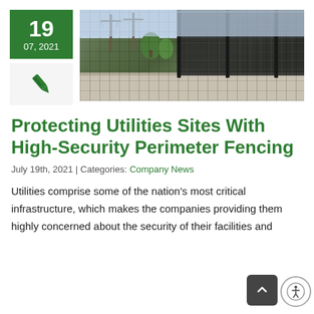[Figure (other): Green date box showing '19' and '07, 2021', with pen icon below on light background]
[Figure (photo): Photograph of a tall dark security perimeter fence, likely chain-link or welded mesh, along a road with utility poles and trees visible in the background]
Protecting Utilities Sites With High-Security Perimeter Fencing
July 19th, 2021 | Categories: Company News
Utilities comprise some of the nation's most critical infrastructure, which makes the companies providing them highly concerned about the security of their facilities and